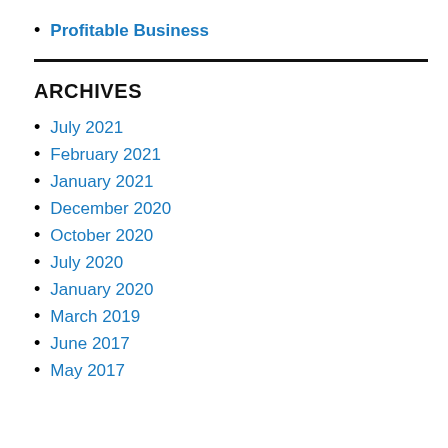Profitable Business
ARCHIVES
July 2021
February 2021
January 2021
December 2020
October 2020
July 2020
January 2020
March 2019
June 2017
May 2017